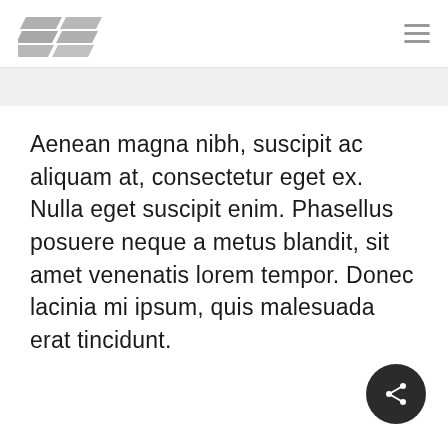[Logo] [Hamburger menu]
Aenean magna nibh, suscipit ac aliquam at, consectetur eget ex. Nulla eget suscipit enim. Phasellus posuere neque a metus blandit, sit amet venenatis lorem tempor. Donec lacinia mi ipsum, quis malesuada erat tincidunt.